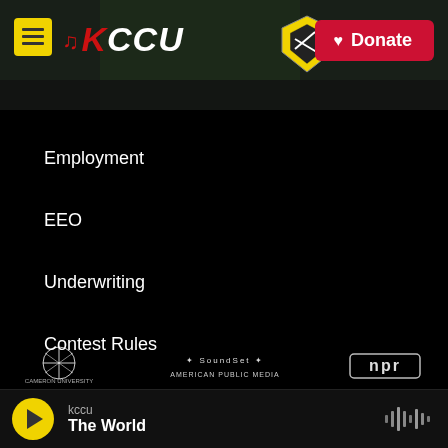[Figure (screenshot): KCCU radio station website header with hamburger menu, KCCU logo with music notes, Cameron University shield logo, and red Donate button]
Employment
EEO
Underwriting
Contest Rules
[Figure (logo): Cameron University logo (white sunburst)]
[Figure (logo): American Public Media logo]
[Figure (logo): NPR logo]
[Figure (logo): Global logo]
[Figure (logo): PRX logo]
[Figure (logo): StateImpact logo]
kccu — The World